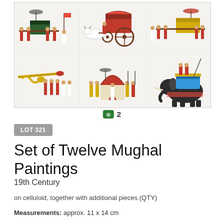[Figure (photo): A 2x3 grid of Mughal paintings on celluloid showing royal procession scenes: palanquins carried by attendants, ox-drawn carriage, decorated sedan chair, elephant with howdah, ornate tent/pavilion with figures, and ceremonial procession with musicians]
2
LOT 321
Set of Twelve Mughal Paintings
19th Century
on celluloid, together with additional pieces (QTY)
Measurements: approx. 11 x 14 cm